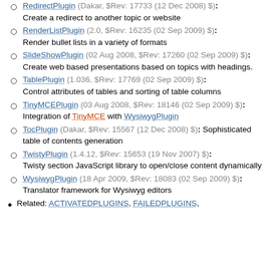RedirectPlugin (Dakar, $Rev: 17733 (12 Dec 2008) $): Create a redirect to another topic or website
RenderListPlugin (2.0, $Rev: 16235 (02 Sep 2009) $): Render bullet lists in a variety of formats
SlideShowPlugin (02 Aug 2008, $Rev: 17260 (02 Sep 2009) $): Create web based presentations based on topics with headings.
TablePlugin (1.036, $Rev: 17769 (02 Sep 2009) $): Control attributes of tables and sorting of table columns
TinyMCEPlugin (03 Aug 2008, $Rev: 18146 (02 Sep 2009) $): Integration of TinyMCE with WysiwygPlugin
TocPlugin (Dakar, $Rev: 15567 (12 Dec 2008) $): Sophisticated table of contents generation
TwistyPlugin (1.4.12, $Rev: 15653 (19 Nov 2007) $): Twisty section JavaScript library to open/close content dynamically
WysiwygPlugin (18 Apr 2009, $Rev: 18083 (02 Sep 2009) $): Translator framework for Wysiwyg editors
Related: ACTIVATEDPLUGINS, FAILEDPLUGINS,